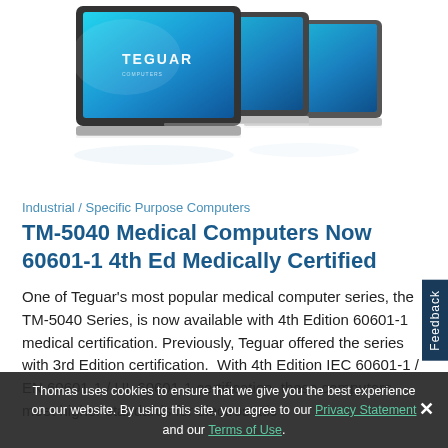[Figure (photo): Three Teguar TM-5040 medical panel computers with touchscreens displaying blue gradient screens, shown stacked/fanned out against white background]
Industrial / Specific Purpose Computers
TM-5040 Medical Computers Now 60601-1 4th Ed Medically Certified
One of Teguar’s most popular medical computer series, the TM-5040 Series, is now available with 4th Edition 60601-1 medical certification. Previously, Teguar offered the series with 3rd Edition certification.  With 4th Edition IEC 60601-1 / EN 60601-1 / UL 60601-1 certification, these computers meet higher standards for electrostatic
Feedback
Thomas uses cookies to ensure that we give you the best experience on our website. By using this site, you agree to our Privacy Statement and our Terms of Use.